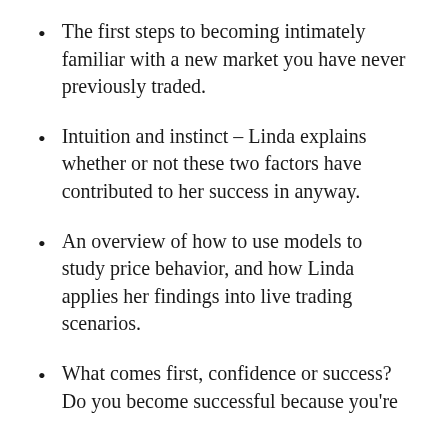The first steps to becoming intimately familiar with a new market you have never previously traded.
Intuition and instinct – Linda explains whether or not these two factors have contributed to her success in anyway.
An overview of how to use models to study price behavior, and how Linda applies her findings into live trading scenarios.
What comes first, confidence or success? Do you become successful because you're